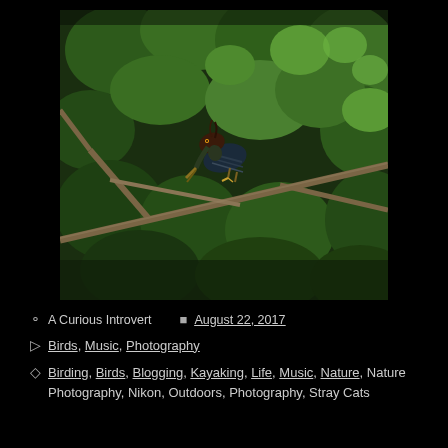[Figure (photo): A green heron perched on a branch amid dense green foliage, looking downward with open beak. The bird has dark striped plumage with a reddish-brown head. The background is lush green leaves lit by natural light.]
A Curious Introvert   August 22, 2017
Birds, Music, Photography
Birding, Birds, Blogging, Kayaking, Life, Music, Nature, Nature Photography, Nikon, Outdoors, Photography, Stray Cats